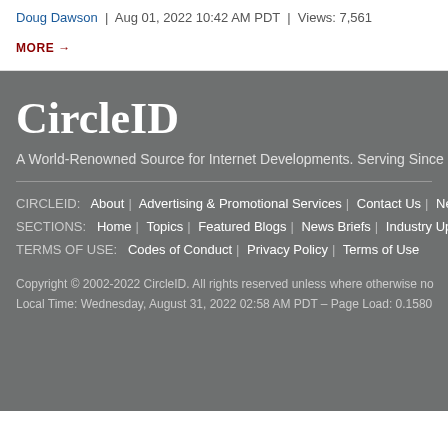Doug Dawson | Aug 01, 2022 10:42 AM PDT | Views: 7,561
MORE →
CircleID
A World-Renowned Source for Internet Developments. Serving Since 20...
CIRCLEID: About | Advertising & Promotional Services | Contact Us | News...
SECTIONS: Home | Topics | Featured Blogs | News Briefs | Industry Upda...
TERMS OF USE: Codes of Conduct | Privacy Policy | Terms of Use
Copyright © 2002-2022 CircleID. All rights reserved unless where otherwise no...
Local Time: Wednesday, August 31, 2022 02:58 AM PDT – Page Load: 0.1580...